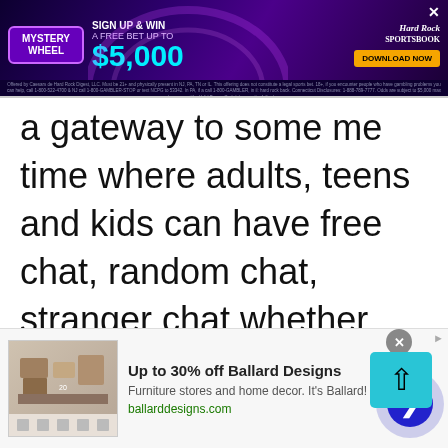[Figure (screenshot): Hard Rock Sportsbook advertisement banner: Mystery Wheel - Sign Up & Win A Free Bet Up To $5,000. Download Now button. Purple neon background with sports imagery.]
a gateway to some me time where adults, teens and kids can have free chat, random chat, stranger chat whether text chat or video chat with anyone around the globe. Get yourself away from Monday blues and find love and laughter with chat
[Figure (screenshot): Up to 30% off Ballard Designs. Furniture stores and home decor. It's Ballard! ballarddesigns.com — advertisement with furniture image.]